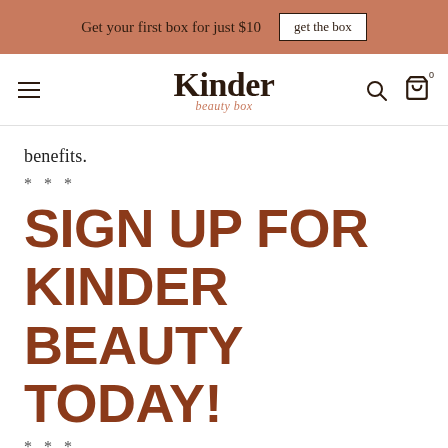Get your first box for just $10   get the box
[Figure (logo): Kinder Beauty Box logo — 'Kinder' in bold serif with 'beauty box' in cursive below]
benefits.
* * *
SIGN UP FOR KINDER BEAUTY TODAY!
* * *
Jackie Lutze has been writing about cruelty-free beauty for years and loves finding the best vegan